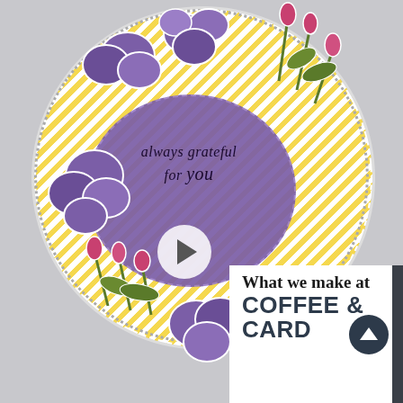[Figure (photo): A handmade greeting card featuring a large circle with yellow diagonal stripes background and a smaller purple circle in the center with the text 'always grateful for you' in cursive. Purple flowers and pink/red tulip buds are arranged around and overlapping the circles. The card has a dashed white border and sits on a light gray background.]
What we make at COFFEE & CARD